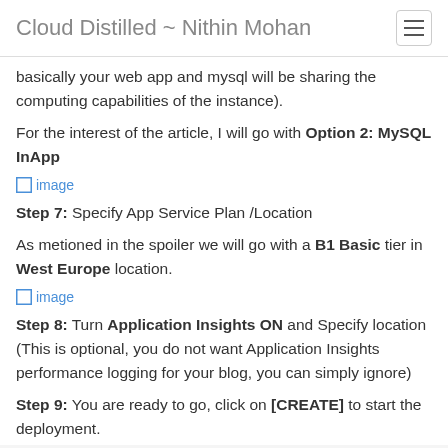Cloud Distilled ~ Nithin Mohan
basically your web app and mysql will be sharing the computing capabilities of the instance).
For the interest of the article, I will go with Option 2: MySQL InApp
[Figure (screenshot): image placeholder]
Step 7: Specify App Service Plan /Location
As metioned in the spoiler we will go with a B1 Basic tier in West Europe location.
[Figure (screenshot): image placeholder]
Step 8: Turn Application Insights ON and Specify location (This is optional, you do not want Application Insights performance logging for your blog, you can simply ignore)
Step 9: You are ready to go, click on [CREATE] to start the deployment.